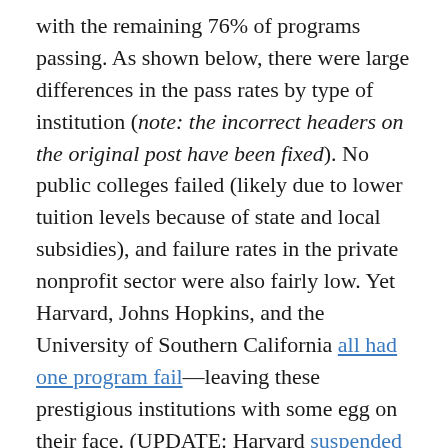with the remaining 76% of programs passing. As shown below, there were large differences in the pass rates by type of institution (note: the incorrect headers on the original post have been fixed). No public colleges failed (likely due to lower tuition levels because of state and local subsidies), and failure rates in the private nonprofit sector were also fairly low. Yet Harvard, Johns Hopkins, and the University of Southern California all had one program fail—leaving these prestigious institutions with some egg on their face. (UPDATE: Harvard suspended admissions for their graduate program in theater that failed gainful employment within one week of the data release.)